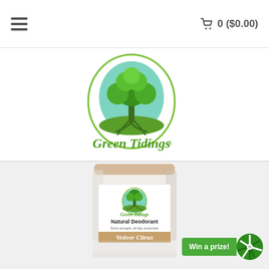≡   🛒 0 ($0.00)
[Figure (logo): Green Tidings logo — a green tree inside a circular teal/green badge with outer oval ring, and 'Green Tidings' text in green script below]
[Figure (photo): Green Tidings Natural Deodorant jar in Vetiver Citrus scent — white cylindrical jar with label showing Green Tidings tree logo, 'Natural Deodorant', 'Extra strength, all day protection', and 'Vetiver Citrus' on a tan/beige banner]